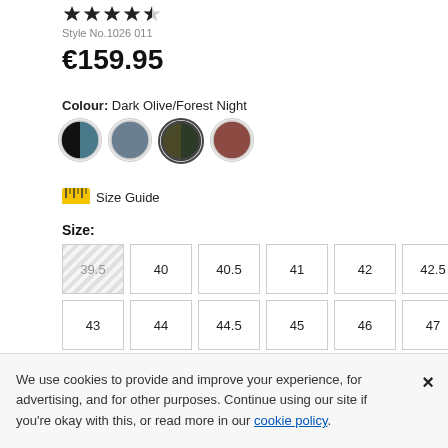[Figure (other): Star rating showing approximately 4.5 out of 5 stars]
Style No.1026 011
€159.95
Colour: Dark Olive/Forest Night
[Figure (illustration): Four colour swatches: black/blue split, slate blue, dark olive/forest night (selected), brown]
[Figure (illustration): Ruler icon for Size Guide]
Size Guide
Size:
| 39.5 | 40 | 40.5 | 41 | 42 | 42.5 |
| 43 | 44 | 44.5 | 45 | 46 | 47 |
We use cookies to provide and improve your experience, for advertising, and for other purposes. Continue using our site if you're okay with this, or read more in our cookie policy.